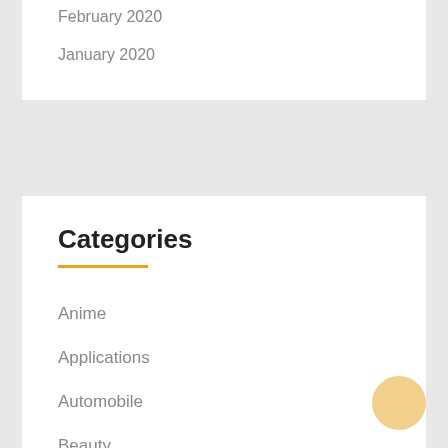February 2020
January 2020
Categories
Anime
Applications
Automobile
Beauty
Business
Digital Marketing
Education
Entertainment